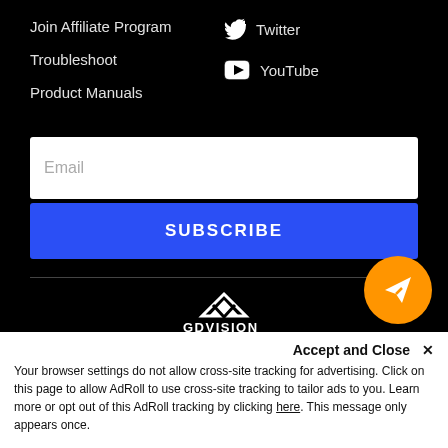Join Affiliate Program
Troubleshoot
Product Manuals
Twitter
YouTube
Email
SUBSCRIBE
[Figure (logo): GDVISION logo — white triangular V chevron mark above stylized GDVISION wordmark with tagline 'SEE IT. RECORD IT. SHARE IT.']
[Figure (infographic): Orange circular FAB button with white paper-plane send icon]
Accept and Close ✕
Your browser settings do not allow cross-site tracking for advertising. Click on this page to allow AdRoll to use cross-site tracking to tailor ads to you. Learn more or opt out of this AdRoll tracking by clicking here. This message only appears once.